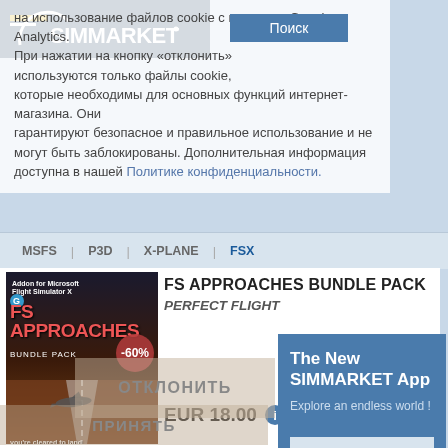[Figure (screenshot): SIMMARKET website logo with blue background]
Поиск
MSFS | P3D | X-PLANE | FSX
на использование файлов cookie с помощью Google Analytics. При нажатии на кнопку «отклонить» используются только файлы cookie, которые необходимы для основных функций интернет-магазина. Они гарантируют безопасное и правильное использование и не могут быть заблокированы. Дополнительная информация доступна в нашей Политике конфиденциальности.
FS APPROACHES BUNDLE PACK
PERFECT FLIGHT
[Figure (illustration): FS Approaches Bundle Pack product box art showing an aircraft on approach to a runway at dusk with -60% discount badge]
EUR 18.00
ПРИНЯТЬ
ОТКЛОНИТЬ
The New SIMMARKET App
Explore an endless world !
DOWNLOAD APP